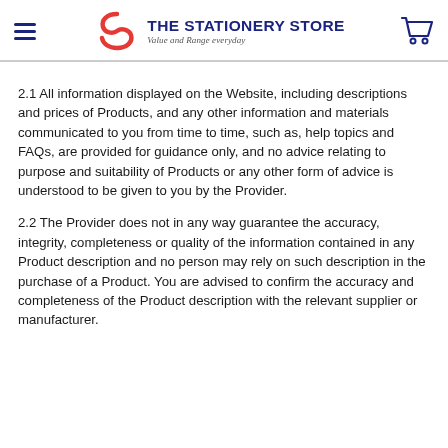THE STATIONERY STORE — Value and Range everyday
2.1 All information displayed on the Website, including descriptions and prices of Products, and any other information and materials communicated to you from time to time, such as, help topics and FAQs, are provided for guidance only, and no advice relating to purpose and suitability of Products or any other form of advice is understood to be given to you by the Provider.
2.2 The Provider does not in any way guarantee the accuracy, integrity, completeness or quality of the information contained in any Product description and no person may rely on such description in the purchase of a Product. You are advised to confirm the accuracy and completeness of the Product description with the relevant supplier or manufacturer.